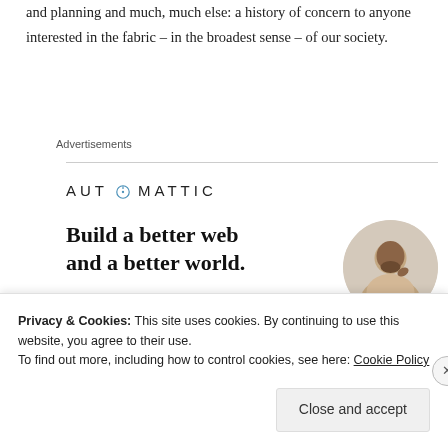and planning and much, much else: a history of concern to anyone interested in the fabric – in the broadest sense – of our society.
Advertisements
[Figure (infographic): Automattic advertisement banner showing logo, headline 'Build a better web and a better world.', an Apply button, and a circular photo of a person.]
Privacy & Cookies: This site uses cookies. By continuing to use this website, you agree to their use.
To find out more, including how to control cookies, see here: Cookie Policy
Close and accept